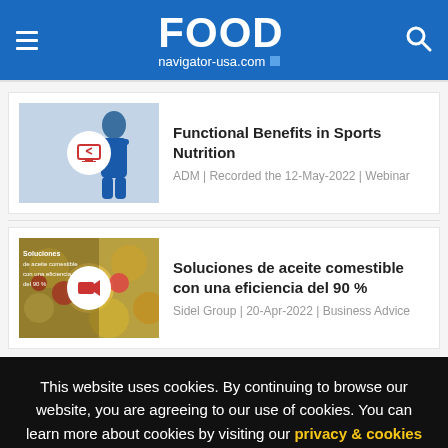FOOD navigator-usa.com
Functional Benefits in Sports Nutrition
ADM | Recorded the 12-May-2022 | Webinar
Soluciones de aceite comestible con una eficiencia del 90 %
Sidel Group | 20-Apr-2022 | Business Advice
This website uses cookies. By continuing to browse our website, you are agreeing to our use of cookies. You can learn more about cookies by visiting our privacy & cookies policy page.